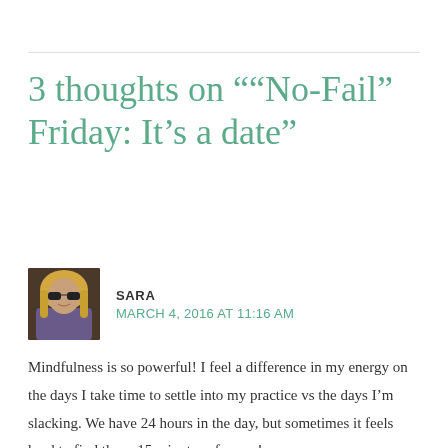3 thoughts on "“No-Fail” Friday: It’s a date”
[Figure (photo): Small square avatar photo of a blonde woman wearing sunglasses]
SARA
MARCH 4, 2016 AT 11:16 AM
Mindfulness is so powerful! I feel a difference in my energy on the days I take time to settle into my practice vs the days I’m slacking. We have 24 hours in the day, but sometimes it feels hard to find those 15 minutes of peace!